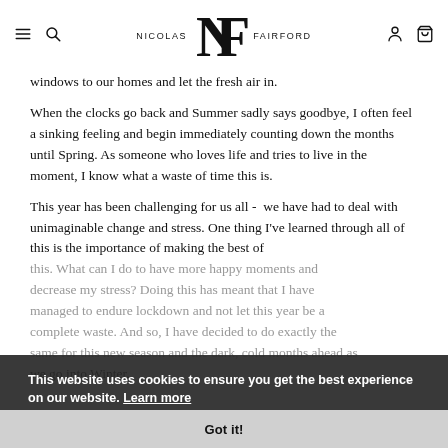NICOLAS NF FAIRFORD
windows to our homes and let the fresh air in.
When the clocks go back and Summer sadly says goodbye, I often feel a sinking feeling and begin immediately counting down the months until Spring. As someone who loves life and tries to live in the moment, I know what a waste of time this is.
This year has been challenging for us all -  we have had to deal with unimaginable change and stress. One thing I've learned through all of this is the importance of making the best of this. What can I do to have more happy moments and decrease my stress? Doing this has meant that I have managed to endure lockdown and not let this year be a complete waste. And so, I have decided to do exactly the same for this new season and the dark, cold months ahead as we go into Winter.
This website uses cookies to ensure you get the best experience on our website. Learn more
Got it!